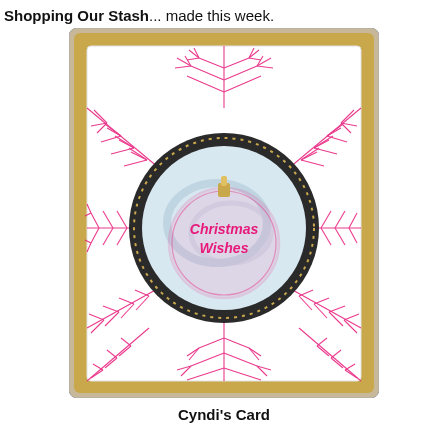Shopping Our Stash... made this week.
[Figure (photo): A handmade greeting card with pink pine branch stamping on white background, mounted on gold/bronze card stock. Center features a dark circular frame with dotted border containing a pink Christmas ornament stamped with 'Christmas Wishes' text and a gold cap.]
Cyndi's Card